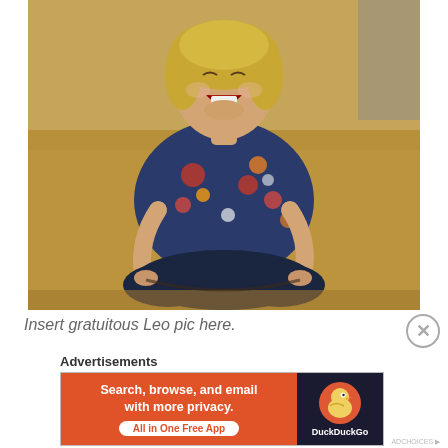[Figure (photo): Young man with shoulder-length blonde hair, laughing with head tilted back, wearing a navy blue floral shirt with red and yellow flowers, sitting cross-legged on dry grass/hay in a field. He is holding something in his hands and appears to be in an outdoor rural setting.]
Insert gratuitous Leo pic here.
Advertisements
[Figure (other): DuckDuckGo advertisement banner. Left side orange background with white bold text: 'Search, browse, and email with more privacy.' and white pill button 'All in One Free App'. Right side dark background with DuckDuckGo duck logo and brand name.]